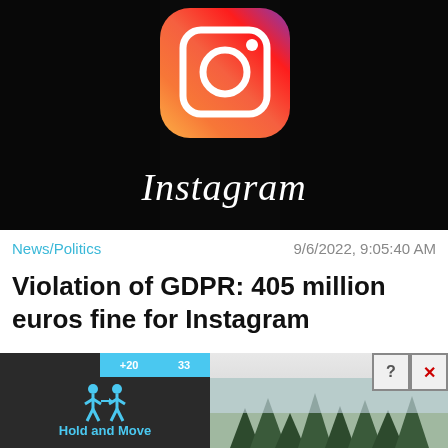[Figure (photo): Close-up photo of the Instagram app icon on a dark smartphone screen, showing the colorful camera logo and the word Instagram below it]
News/Politics
9/6/2022, 9:05:40 AM
Violation of GDPR: 405 million euros fine for Instagram
[Figure (screenshot): Bottom advertisement area showing a 'Close X' button overlay on a dark ad with people icon and 'Hold and Move' text, alongside a nature/trees photo with help and close icons]
Close X
Hold and Move